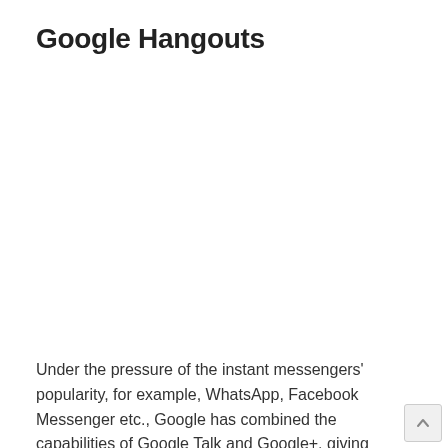Google Hangouts
Under the pressure of the instant messengers' popularity, for example, WhatsApp, Facebook Messenger etc., Google has combined the capabilities of Google Talk and Google+, giving users the